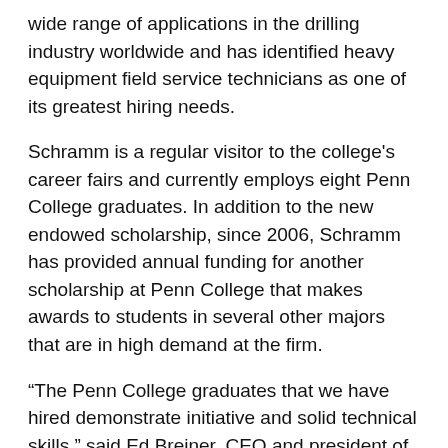wide range of applications in the drilling industry worldwide and has identified heavy equipment field service technicians as one of its greatest hiring needs.
Schramm is a regular visitor to the college's career fairs and currently employs eight Penn College graduates. In addition to the new endowed scholarship, since 2006, Schramm has provided annual funding for another scholarship at Penn College that makes awards to students in several other majors that are in high demand at the firm.
“The Penn College graduates that we have hired demonstrate initiative and solid technical skills,” said Ed Breiner, CEO and president of Schramm Inc., “and, most importantly, they arrive on the first day with a great work ethic.”
“We’re grateful for the very positive relationship we have with Schramm,” said Debra M. Miller, director of corporate relations at Penn College. “The company’s broad support